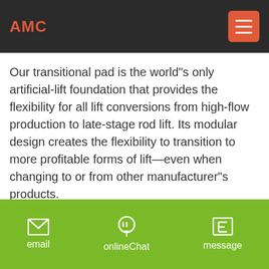AMC
Our transitional pad is the world"s only artificial-lift foundation that provides the flexibility for all lift conversions from high-flow production to late-stage rod lift. Its modular design creates the flexibility to transition to more profitable forms of lift—even when changing to or from other manufacturer"s products.
[Figure (illustration): Cyan circular button with white right-pointing arrow]
[Figure (photo): Outdoor photo showing industrial building with flags and equipment against a light blue sky]
[Figure (illustration): Green circular rocket/notification button]
email   onlineChat   message